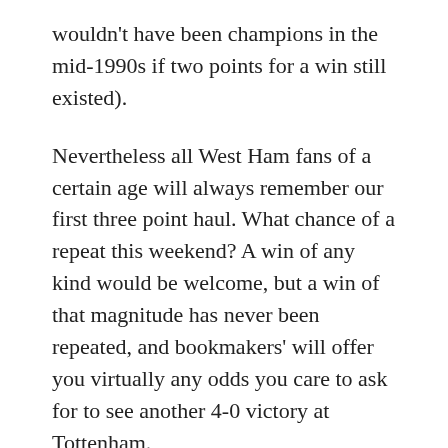wouldn't have been champions in the mid-1990s if two points for a win still existed).
Nevertheless all West Ham fans of a certain age will always remember our first three point haul. What chance of a repeat this weekend? A win of any kind would be welcome, but a win of that magnitude has never been repeated, and bookmakers' will offer you virtually any odds you care to ask for to see another 4-0 victory at Tottenham.
Richard Bennett / April 26, 2019 / History, Match, News, Preview
Leicester visit the